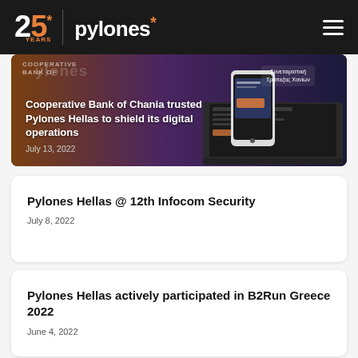25* YEARS | pylones*
[Figure (photo): Hero image card showing Cooperative Bank of Chania article with dark purple/brown gradient background, device mockups (smartphone and laptop), and Greek text label]
Cooperative Bank of Chania trusted Pylones Hellas to shield its digital operations
July 13, 2022
Pylones Hellas @ 12th Infocom Security
July 8, 2022
Pylones Hellas actively participated in B2Run Greece 2022
June 4, 2022